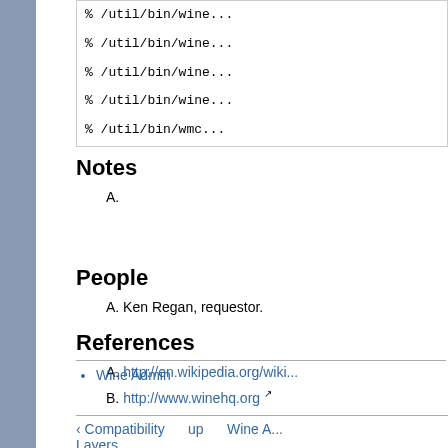[Figure (screenshot): Code block showing shell commands: % /util/bin/wine... lines, % /util/bin/wmc..., % /util/bin/wrc...]
Notes
A.
People
A. Ken Regan, requestor.
References
A. http://en.wikipedia.org/wiki...
B. http://www.winehq.org
Wine Admin
‹ Compatibility   up   Wine A... Layers